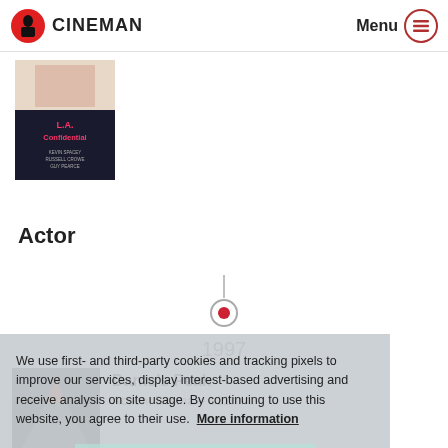CINEMAN  Menu
[Figure (photo): Movie poster for L.A. Confidential partially visible]
Actor
[Figure (infographic): Timeline dot marker for year 1997]
1997
[Figure (photo): Movie poster for Dante's Peak]
Dante's Peak
Action, Drama – 112min.
We use first- and third-party cookies and tracking pixels to improve our services, display interest-based advertising and receive analysis on site usage. By continuing to use this website, you agree to their use. More information
OK